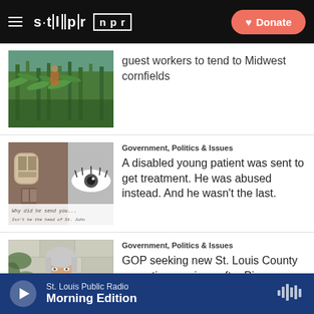STLPR NPR — Donate
guest workers to tend to Midwest cornfields
Government, Politics & Issues
A disabled young patient was sent to get treatment. He was abused instead. And he wasn't the last.
Government, Politics & Issues
GOP seeking new St. Louis County executive nominee after Pinner steps aside — again
St. Louis Public Radio — Morning Edition